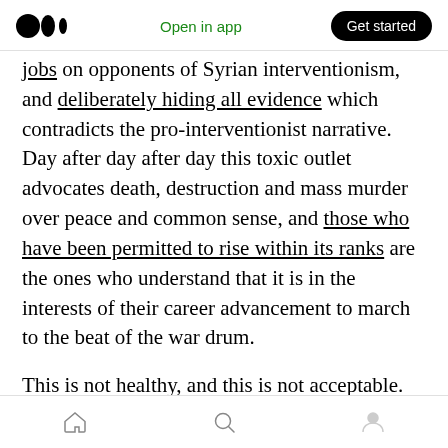Medium logo | Open in app | Get started
jobs on opponents of Syrian interventionism, and deliberately hiding all evidence which contradicts the pro-interventionist narrative. Day after day after day this toxic outlet advocates death, destruction and mass murder over peace and common sense, and those who have been permitted to rise within its ranks are the ones who understand that it is in the interests of their career advancement to march to the beat of the war drum.

This is not healthy, and this is not acceptable.
Home | Search | Profile